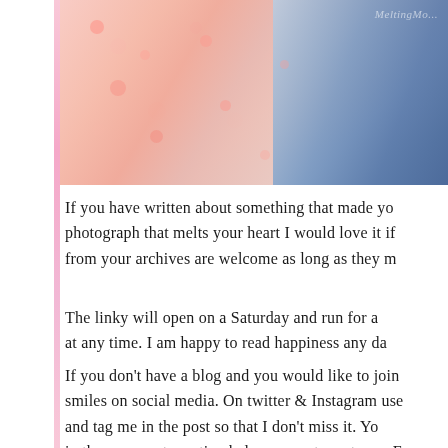[Figure (photo): Cropped photo of colorful floral fabric/bedding on the left side and teal/blue clothing or fabric on the right, with a faint watermark in the top right corner. Warm pink and orange tones dominate the left portion.]
If you have written about something that made yo... photograph that melts your heart I would love it if... from your archives are welcome as long as they m...
The linky will open on a Saturday and run for a... at any time. I am happy to read happiness any da...
If you don't have a blog and you would like to join... smiles on social media. On twitter & Instagram use... and tag me in the post so that I don't miss it Yo... in the comments section below or post one to my F...